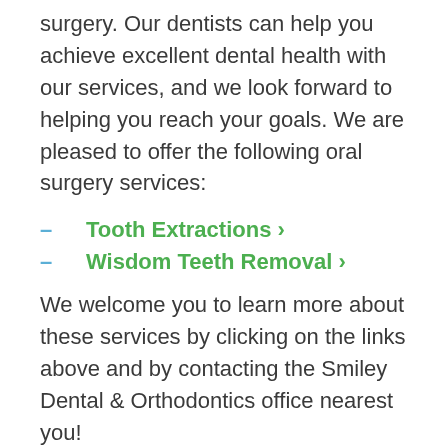surgery. Our dentists can help you achieve excellent dental health with our services, and we look forward to helping you reach your goals. We are pleased to offer the following oral surgery services:
Tooth Extractions >
Wisdom Teeth Removal >
We welcome you to learn more about these services by clicking on the links above and by contacting the Smiley Dental & Orthodontics office nearest you!
Oral surgery includes a number of surgical dental